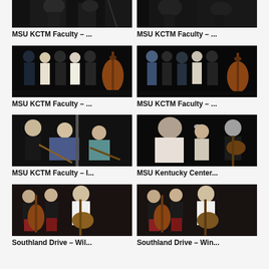[Figure (photo): Partial view of musicians performing, top portion cropped, dark background]
MSU KCTM Faculty – ...
[Figure (photo): Partial view of musicians on stage, top portion cropped, dark background]
MSU KCTM Faculty – ...
[Figure (photo): Group of musicians on stage with instruments including double bass and guitars]
MSU KCTM Faculty – ...
[Figure (photo): Group of musicians on stage with double bass and various string instruments]
MSU KCTM Faculty – ...
[Figure (photo): Three people playing instruments, candid performance shot]
MSU KCTM Faculty – I...
[Figure (photo): Singer with microphone and guitarist performing on stage]
MSU Kentucky Center...
[Figure (photo): Musicians on stage, man with guitar and others in background]
Southland Drive – Wil...
[Figure (photo): Similar musicians on stage, man with guitar, double bass visible]
Southland Drive – Win...